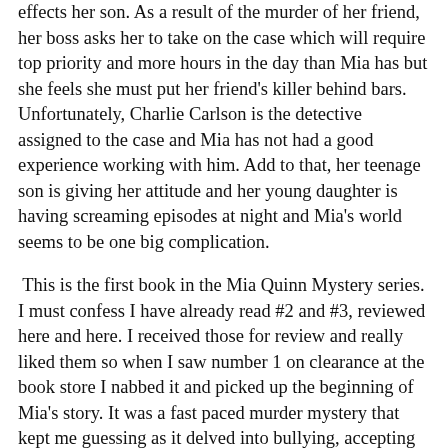effects her son. As a result of the murder of her friend, her boss asks her to take on the case which will require top priority and more hours in the day than Mia has but she feels she must put her friend's killer behind bars. Unfortunately, Charlie Carlson is the detective assigned to the case and Mia has not had a good experience working with him. Add to that, her teenage son is giving her attitude and her young daughter is having screaming episodes at night and Mia's world seems to be one big complication.
This is the first book in the Mia Quinn Mystery series. I must confess I have already read #2 and #3, reviewed here and here. I received those for review and really liked them so when I saw number 1 on clearance at the book store I nabbed it and picked up the beginning of Mia's story. It was a fast paced murder mystery that kept me guessing as it delved into bullying, accepting others for who they are, and appearances not always being what they seem. Having been a stay at home parent, Mia was struggling with her husband's unexpected death just a few months before and was forced back to work quickly because of unknown to her debts that her husband had accumulated. And then one thing